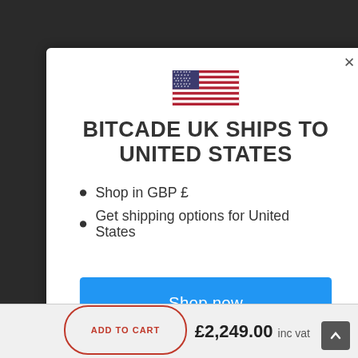[Figure (screenshot): Modal popup dialog on a dark website background. Contains a US flag, heading 'BITCADE UK SHIPS TO UNITED STATES', bullet list with shopping options, a blue 'Shop now' button, and a 'Change shipping country' link. Bottom bar shows price £2,249.00 inc vat and an ADD TO CART button.]
BITCADE UK SHIPS TO UNITED STATES
Shop in GBP £
Get shipping options for United States
Shop now
Change shipping country
£2,249.00 inc vat